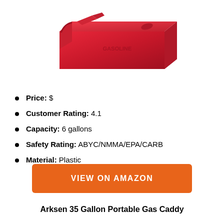[Figure (photo): Red plastic portable gasoline container/tank viewed from above at an angle, with 'GASOLINE' embossed on the side]
Price: $
Customer Rating: 4.1
Capacity: 6 gallons
Safety Rating: ABYC/NMMA/EPA/CARB
Material: Plastic
VIEW ON AMAZON
Arksen 35 Gallon Portable Gas Caddy